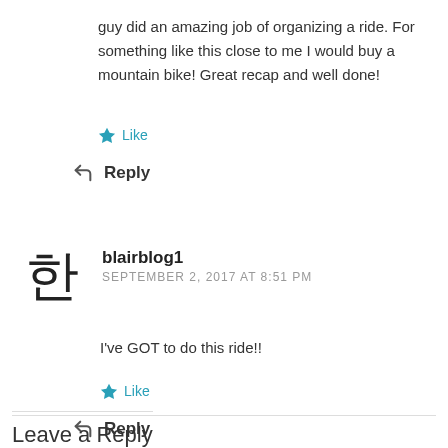guy did an amazing job of organizing a ride. For something like this close to me I would buy a mountain bike! Great recap and well done!
Like
Reply
blairblog1
SEPTEMBER 2, 2017 AT 8:51 PM
I've GOT to do this ride!!
Like
Reply
Leave a Reply